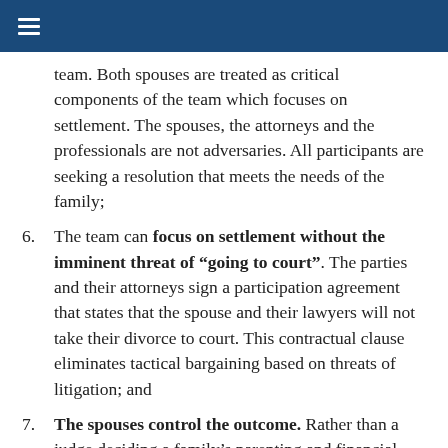team. Both spouses are treated as critical components of the team which focuses on settlement. The spouses, the attorneys and the professionals are not adversaries. All participants are seeking a resolution that meets the needs of the family;
6. The team can focus on settlement without the imminent threat of “going to court”. The parties and their attorneys sign a participation agreement that states that the spouse and their lawyers will not take their divorce to court. This contractual clause eliminates tactical bargaining based on threats of litigation; and
7. The spouses control the outcome. Rather than a judge deciding a family’s parenting and financial futures, the parties themselves negotiate with